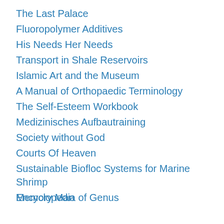The Last Palace
Fluoropolymer Additives
His Needs Her Needs
Transport in Shale Reservoirs
Islamic Art and the Museum
A Manual of Orthopaedic Terminology
The Self-Esteem Workbook
Medizinisches Aufbautraining
Society without God
Courts Of Heaven
Sustainable Biofloc Systems for Marine Shrimp
Memory Man
Encyclopedia of Genus